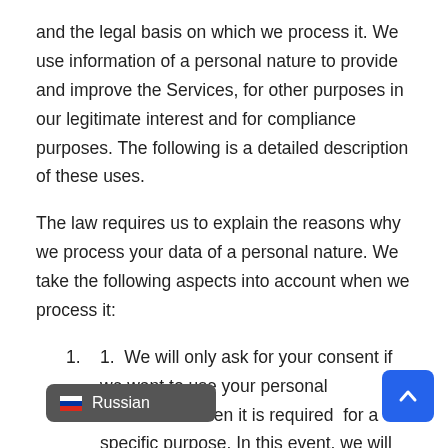and the legal basis on which we process it. We use information of a personal nature to provide and improve the Services, for other purposes in our legitimate interest and for compliance purposes. The following is a detailed description of these uses.
The law requires us to explain the reasons why we process your data of a personal nature. We take the following aspects into account when we process it:
1.  We will only ask for your consent if we want to use your personal information when it is required  for a specific purpose. In this event, we will obtain it separately and make it clear e asking your consent.
npliance with a legal duty (e.g., to